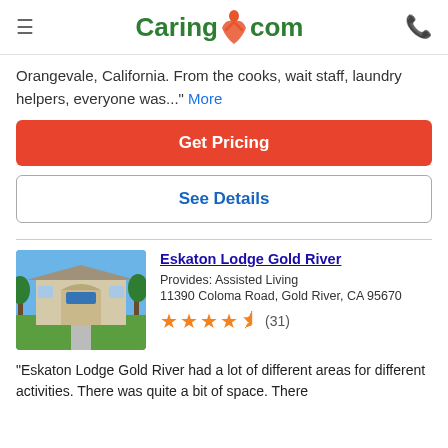Caring.com
Orangevale, California. From the cooks, wait staff, laundry helpers, everyone was..." More
Get Pricing
See Details
Eskaton Lodge Gold River
Provides: Assisted Living
11390 Coloma Road, Gold River, CA 95670
(31)
"Eskaton Lodge Gold River had a lot of different areas for different activities. There was quite a bit of space. There